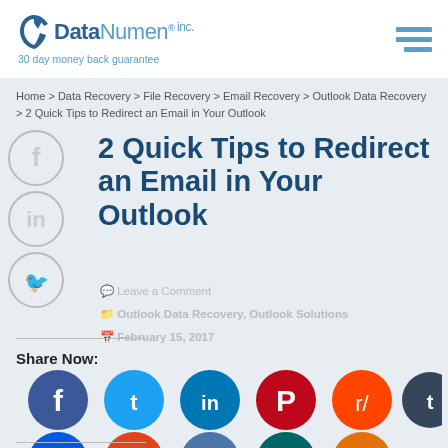DataNumen inc. — 30 day money back guarantee
Home > Data Recovery > File Recovery > Email Recovery > Outlook Data Recovery > 2 Quick Tips to Redirect an Email in Your Outlook
2 Quick Tips to Redirect an Email in Your Outlook
Leave a Comment
Outlook Data Recovery, Outlook Solutions
February 15, 2017
Share Now:
[Figure (infographic): Social media share buttons: Facebook, Twitter, LinkedIn, Pinterest, Reddit, Tumblr (top row); Digg, StumbleUpon, VK, XING, Yummly (bottom row)]